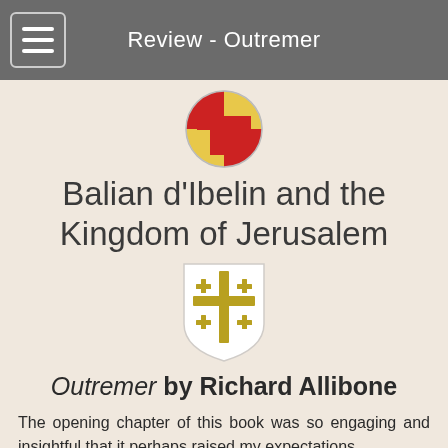Review - Outremer
[Figure (illustration): Red and yellow quartered circular emblem at top of page]
Balian d'Ibelin and the Kingdom of Jerusalem
[Figure (illustration): Heraldic shield with gold Jerusalem cross on white background]
Outremer by Richard Allibone
The opening chapter of this book was so engaging and insightful that it perhaps raised my expectations